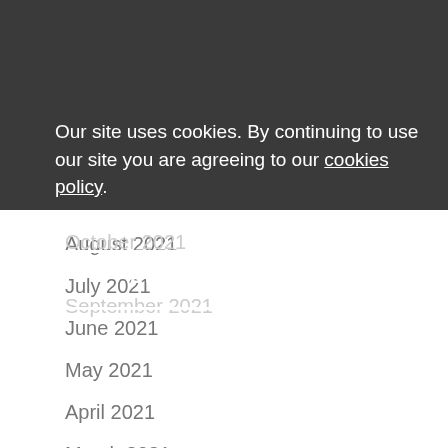January 2022
December 2021
November 2021
October 2021
September 2021
Our site uses cookies. By continuing to use our site you are agreeing to our cookies policy.
ACCEPT & CLOSE
August 2021
July 2021
June 2021
May 2021
April 2021
March 2021
January 2021
December 2020